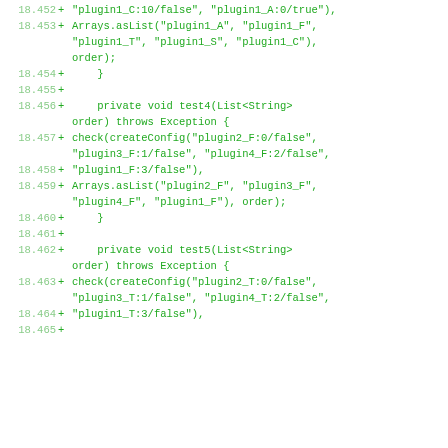Code diff showing Java test methods with plugin configuration lines 18.452 through 18.465
18.452 + "plugin1_C:10/false", "plugin1_A:0/true"),
18.453 + Arrays.asList("plugin1_A", "plugin1_F", "plugin1_T", "plugin1_S", "plugin1_C"), order);
18.454 +     }
18.455 +
18.456 +     private void test4(List<String> order) throws Exception {
18.457 + check(createConfig("plugin2_F:0/false", "plugin3_F:1/false", "plugin4_F:2/false",
18.458 + "plugin1_F:3/false"),
18.459 + Arrays.asList("plugin2_F", "plugin3_F", "plugin4_F", "plugin1_F"), order);
18.460 +     }
18.461 +
18.462 +     private void test5(List<String> order) throws Exception {
18.463 + check(createConfig("plugin2_T:0/false", "plugin3_T:1/false", "plugin4_T:2/false",
18.464 + "plugin1_T:3/false"),
18.465 +